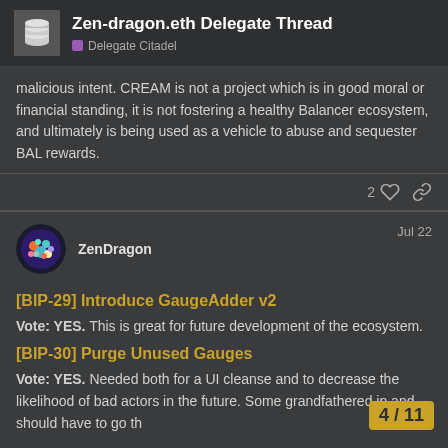Zen-dragon.eth Delegate Thread | Delegate Citadel
malicious intent. CREAM is not a project which is in good moral or financial standing, it is not fostering a healthy Balancer ecosystem, and ultimately is being used as a vehicle to abuse and sequester BAL rewards.
ZenDragon Jul 22
[BIP-29] Introduce GaugeAdder v2
Vote: YES. This is great for future development of the ecosystem.
[BIP-30] Purge Unused Gauges
Vote: YES. Needed both for a UI cleanse and to decrease the likelihood of bad actors in the future. Some grandfathered in and should have to go th
4 / 11